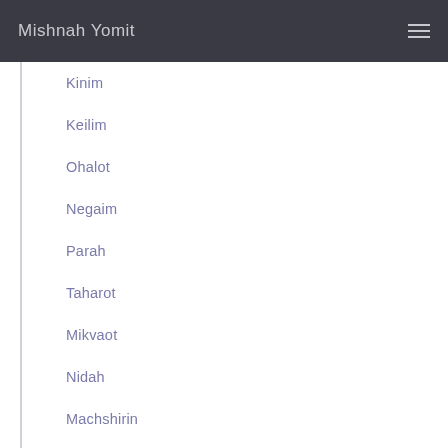Mishnah Yomit
Kinim
Keilim
Ohalot
Negaim
Parah
Taharot
Mikvaot
Nidah
Machshirin
Zavim